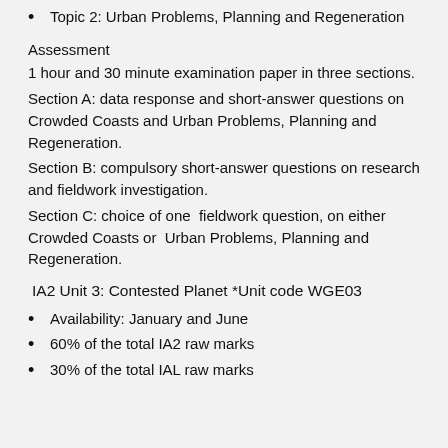Topic 2: Urban Problems, Planning and Regeneration
Assessment
1 hour and 30 minute examination paper in three sections.
Section A: data response and short-answer questions on Crowded Coasts and Urban Problems, Planning and Regeneration.
Section B: compulsory short-answer questions on research and fieldwork investigation.
Section C: choice of one fieldwork question, on either Crowded Coasts or Urban Problems, Planning and Regeneration.
IA2 Unit 3: Contested Planet *Unit code WGE03
Availability: January and June
60% of the total IA2 raw marks
30% of the total IAL raw marks